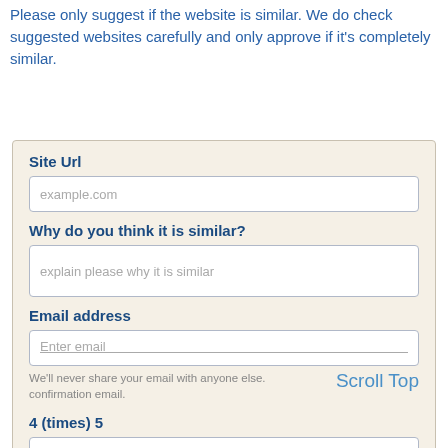Please only suggest if the website is similar. We do check suggested websites carefully and only approve if it's completely similar.
Site Url
example.com
Why do you think it is similar?
explain please why it is similar
Email address
Enter email
We'll never share your email with anyone else. confirmation email.
Scroll Top
4 (times) 5
I'm sure it's similar